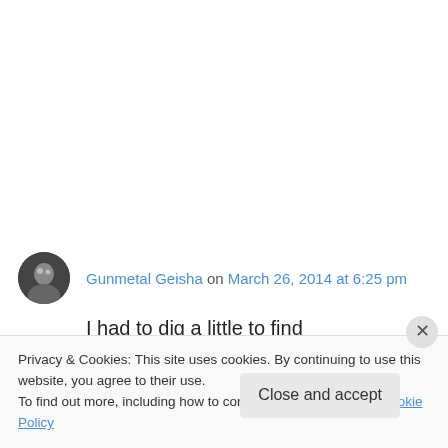Gunmetal Geisha on March 26, 2014 at 6:25 pm
I had to dig a little to find “Lovepocalypse,” or maybe I put in an “a” where I shouldn't have in the search box… But I found it, and now, on to part 2! (By the way, I’m loving the piano bar bit, and how it relates to you as Lizzi’s muse, and
Privacy & Cookies: This site uses cookies. By continuing to use this website, you agree to their use.
To find out more, including how to control cookies, see here: Cookie Policy
Close and accept